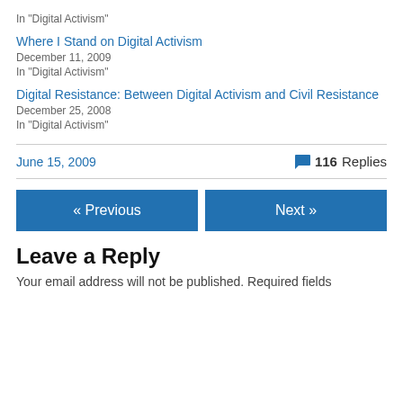In "Digital Activism"
Where I Stand on Digital Activism
December 11, 2009
In "Digital Activism"
Digital Resistance: Between Digital Activism and Civil Resistance
December 25, 2008
In "Digital Activism"
June 15, 2009
116 Replies
« Previous
Next »
Leave a Reply
Your email address will not be published. Required fields